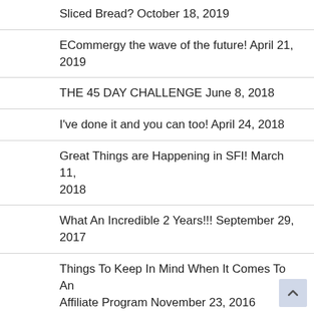Sliced Bread? October 18, 2019
ECommergy the wave of the future! April 21, 2019
THE 45 DAY CHALLENGE June 8, 2018
I've done it and you can too! April 24, 2018
Great Things are Happening in SFI! March 11, 2018
What An Incredible 2 Years!!! September 29, 2017
Things To Keep In Mind When It Comes To An Affiliate Program November 23, 2016
Things To Know About Affiliate Marketing